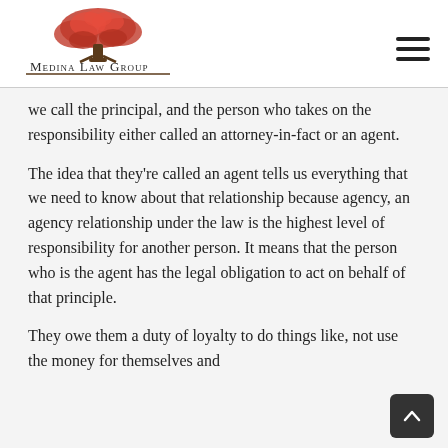[Figure (logo): Medina Law Group logo with a red tree above the text 'Medina Law Group']
we call the principal, and the person who takes on the responsibility either called an attorney-in-fact or an agent.
The idea that they're called an agent tells us everything that we need to know about that relationship because agency, an agency relationship under the law is the highest level of responsibility for another person. It means that the person who is the agent has the legal obligation to act on behalf of that principle.
They owe them a duty of loyalty to do things like, not use the money for themselves and